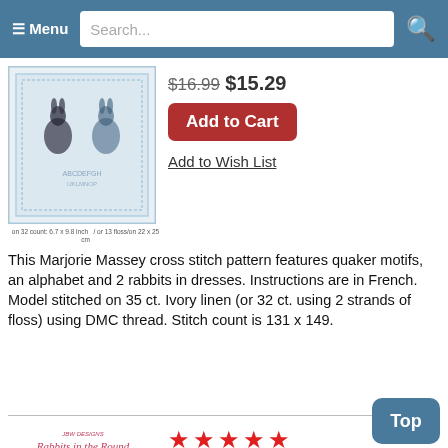☰ Menu  Search...
[Figure (photo): Cross stitch pattern showing two rabbits in dresses with quaker motifs and alphabet border, blue and white design]
$16.99 $15.29
Add to Cart
Add to Wish List
on 32 count: 6.7 x 9.8 inch  / or 13 floss/on 22 x 25 cm
This Marjorie Massey cross stitch pattern features quaker motifs, an alphabet and 2 rabbits in dresses. Instructions are in French. Model stitched on 35 ct. Ivory linen (or 32 ct. using 2 strands of floss) using DMC thread. Stitch count is 131 x 149.
[Figure (photo): Rabbits in the Round cross stitch pattern by JBW Designs showing a circular embroidery hoop with pink rabbits in floral design with red ribbon]
★★★★★
Rabbits in the Round - Cross Stitch Pattern by JBW Designs
$10.00 $8.99
Add to Cart
Top